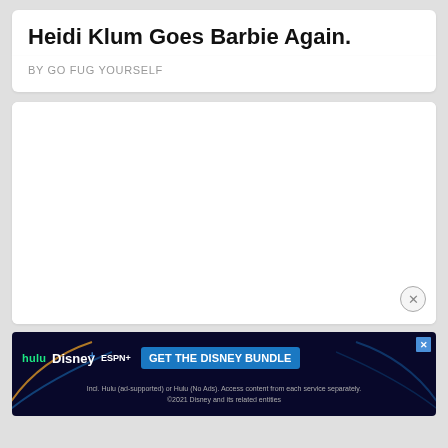Heidi Klum Goes Barbie Again.
BY GO FUG YOURSELF
[Figure (other): Large white blank advertisement or image placeholder area with a close/dismiss button (circle with X) in the bottom right corner]
[Figure (other): Disney Bundle advertisement banner with dark navy background showing Hulu, Disney+, and ESPN+ logos on the left and 'GET THE DISNEY BUNDLE' button on the right, with fine print below: 'Incl. Hulu (ad-supported) or Hulu (No Ads). Access content from each service separately. ©2021 Disney and its related entities']